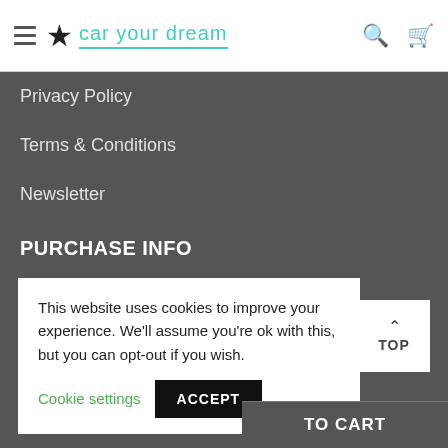car your dream
Privacy Policy
Terms & Conditions
Newsletter
PURCHASE INFO
FAQs
Payment Methods
This website uses cookies to improve your experience. We'll assume you're ok with this, but you can opt-out if you wish. Cookie settings ACCEPT